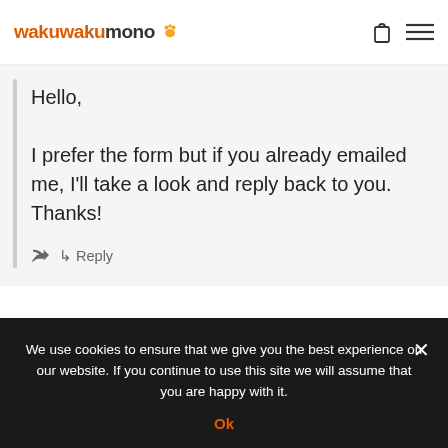wakuwakumono
Hello,
I prefer the form but if you already emailed me, I'll take a look and reply back to you. Thanks!
↵ Reply
[Figure (illustration): User avatar circle icon (grey placeholder)]
We use cookies to ensure that we give you the best experience on our website. If you continue to use this site we will assume that you are happy with it.
Ok